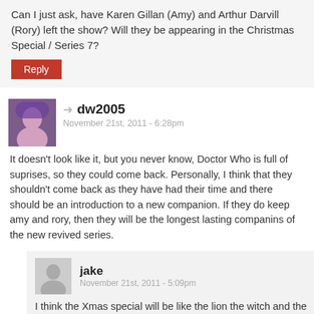Can I just ask, have Karen Gillan (Amy) and Arthur Darvill (Rory) left the show? Will they be appearing in the Christmas Special / Series 7?
Reply
dw2005
November 21st, 2011 - 6:28pm
It doesn't look like it, but you never know, Doctor Who is full of suprises, so they could come back. Personally, I think that they shouldn't come back as they have had their time and there should be an introduction to a new companion. If they do keep amy and rory, then they will be the longest lasting companins of the new revived series.
jake
November 21st, 2011 - 5:09pm
I think the Xmas special will be like the lion the witch and the wardrobe from Narnia
Reply